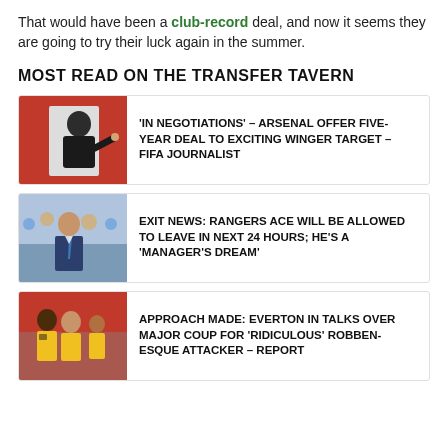That would have been a club-record deal, and now it seems they are going to try their luck again in the summer.
MOST READ ON THE TRANSFER TAVERN
[Figure (photo): Man in black outfit pointing finger, red background]
'IN NEGOTIATIONS' – ARSENAL OFFER FIVE-YEAR DEAL TO EXCITING WINGER TARGET – FIFA JOURNALIST
[Figure (photo): Man in suit with crowd background]
EXIT NEWS: RANGERS ACE WILL BE ALLOWED TO LEAVE IN NEXT 24 HOURS; HE'S A 'MANAGER'S DREAM'
[Figure (photo): Football players in yellow jerseys]
APPROACH MADE: EVERTON IN TALKS OVER MAJOR COUP FOR 'RIDICULOUS' ROBBEN-ESQUE ATTACKER – REPORT